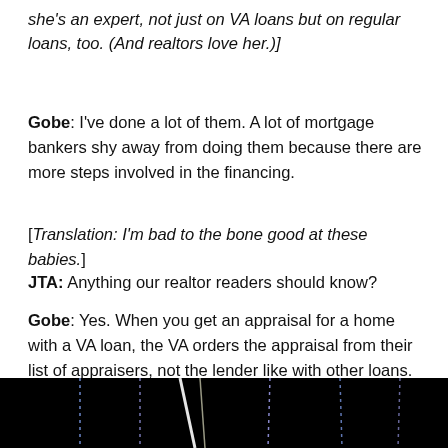she's an expert, not just on VA loans but on regular loans, too. (And realtors love her.)]
Gobe: I've done a lot of them. A lot of mortgage bankers shy away from doing them because there are more steps involved in the financing.
[Translation: I'm bad to the bone good at these babies.]
JTA: Anything our realtor readers should know?
Gobe: Yes. When you get an appraisal for a home with a VA loan, the VA orders the appraisal from their list of appraisers, not the lender like with other loans. Also, there are certain fees the buyers can't pay. Either the seller will pay it, or it gets financed into the interest rate.
[Figure (photo): Dark photograph showing lights or illuminated lines against a black background]